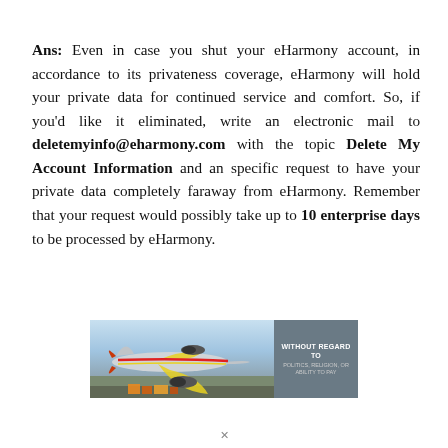Ans: Even in case you shut your eHarmony account, in accordance to its privateness coverage, eHarmony will hold your private data for continued service and comfort. So, if you'd like it eliminated, write an electronic mail to deletemyinfo@eharmony.com with the topic Delete My Account Information and an specific request to have your private data completely faraway from eHarmony. Remember that your request would possibly take up to 10 enterprise days to be processed by eHarmony.
[Figure (photo): Advertisement banner showing a cargo airplane on an airport tarmac with a dark overlay panel on the right reading 'WITHOUT REGARD TO POLITICS, RELIGION, OR ABILITY TO PAY' in white uppercase text on a grey background.]